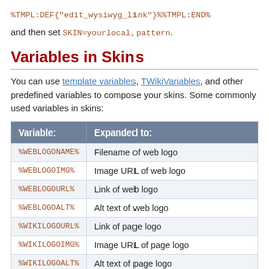%TMPL:DEF{"edit_wysiwyg_link"}%%TMPL:END%
and then set SKIN=yourlocal,pattern.
Variables in Skins
You can use template variables, TWikiVariables, and other predefined variables to compose your skins. Some commonly used variables in skins:
| Variable: | Expanded to: |
| --- | --- |
| %WEBLOGONAME% | Filename of web logo |
| %WEBLOGOIMG% | Image URL of web logo |
| %WEBLOGOURL% | Link of web logo |
| %WEBLOGOALT% | Alt text of web logo |
| %WIKILOGOURL% | Link of page logo |
| %WIKILOGOIMG% | Image URL of page logo |
| %WIKILOGOALT% | Alt text of page logo |
| %WEBBGCOLOR% | Web-specific background color, defined in the WebPreferences |